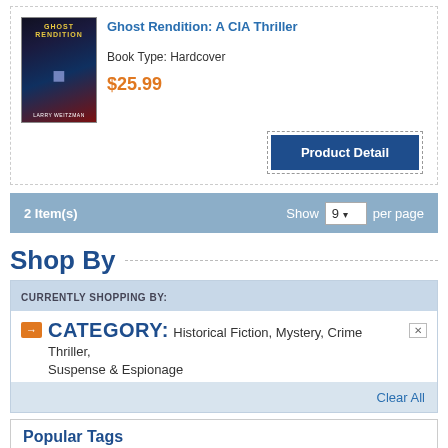[Figure (illustration): Book cover for Ghost Rendition: A CIA Thriller by Larry Weitzman — dark background with thriller imagery]
Ghost Rendition: A CIA Thriller
Book Type: Hardcover
$25.99
Product Detail
2 Item(s)
Show 9 per page
Shop By
CURRENTLY SHOPPING BY:
CATEGORY: Historical Fiction, Mystery, Crime Thriller, Suspense & Espionage
Clear All
Popular Tags
Aftershock Audiobooks Finance Health Innovate Investing Israel Leadership Management Mobile ObamaCare Organization Photography Politics Pope Francis Ronald Reagan Wellness